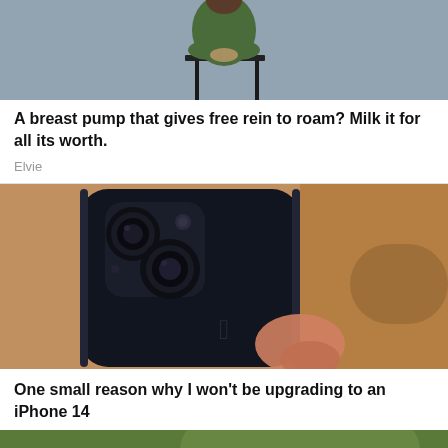[Figure (photo): Person sitting on a chair wearing green outfit, partially visible at top of page]
A breast pump that gives free rein to roam? Milk it for all its worth.
Elvie
[Figure (photo): Close-up of back of iPhone 13 in black/midnight color being held by a hand, showing dual camera system and Apple logo]
One small reason why I won't be upgrading to an iPhone 14
[Figure (photo): Partial photo showing green blurred background with white circular element, bottom of page]